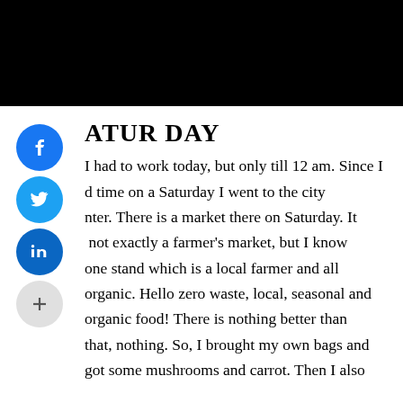[Figure (photo): Black rectangular image spanning full width at top of page]
SATURDAY
I had to work today, but only till 12 am. Since I had time on a Saturday I went to the city center. There is a market there on Saturday. It is not exactly a farmer's market, but I know one stand which is a local farmer and all organic. Hello zero waste, local, seasonal and organic food! There is nothing better than that, nothing. So, I brought my own bags and got some mushrooms and carrot. Then I also